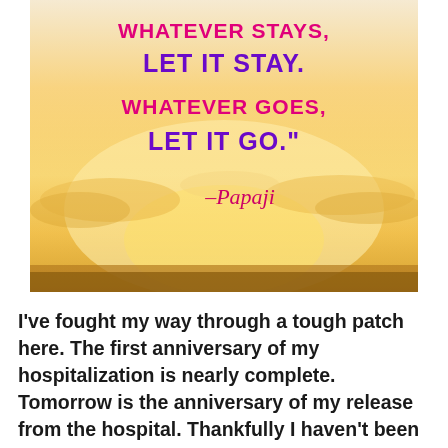[Figure (illustration): Inspirational quote image with a warm golden sunset sky background. Text reads: 'WHATEVER STAYS, LET IT STAY. WHATEVER GOES, LET IT GO.' attributed to Papaji in cursive script.]
I've fought my way through a tough patch here. The first anniversary of my hospitalization is nearly complete. Tomorrow is the anniversary of my release from the hospital. Thankfully I haven't been back since then. I've dealt with nightmares for several weeks, which came as